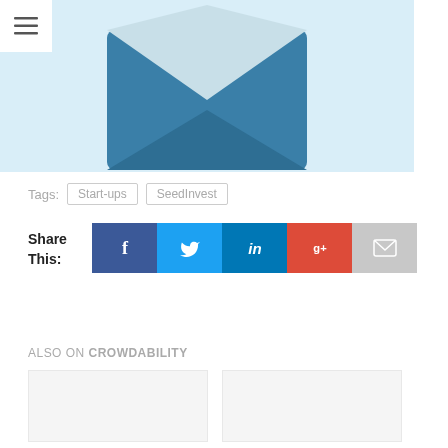[Figure (illustration): Email envelope icon — open blue envelope with cream-colored flap, on light blue background]
Tags: Start-ups SeedInvest
Share This:
[Figure (infographic): Share buttons row: Facebook (dark blue), Twitter (light blue), LinkedIn (blue), Google+ (red), Email (grey)]
ALSO ON CROWDABILITY
[Figure (other): Two article card thumbnails, blank/loading]